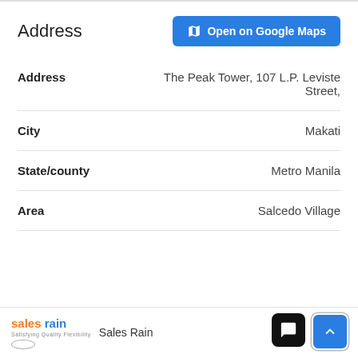Address
| Field | Value |
| --- | --- |
| Address | The Peak Tower, 107 L.P. Leviste Street, |
| City | Makati |
| State/county | Metro Manila |
| Area | Salcedo Village |
Sales Rain